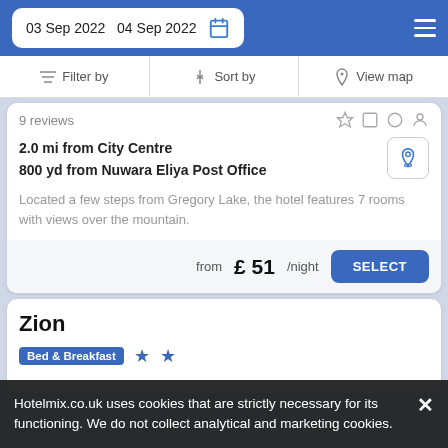03 Sep 2022  04 Sep 2022
Filter by | Sort by | View map
9 reviews
2.0 mi from City Centre
800 yd from Nuwara Eliya Post Office
Located a few steps from Gregory Lake, the hotel features 7 rooms with views over the mountain.
from £ 51/night   SELECT
Zion
Bed & Breakfast  ★★
Hotelmix.co.uk uses cookies that are strictly necessary for its functioning. We do not collect analytical and marketing cookies.